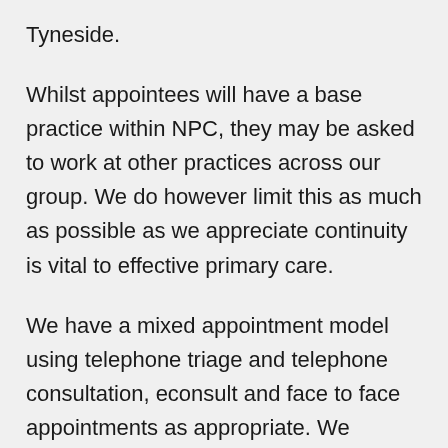Tyneside.
Whilst appointees will have a base practice within NPC, they may be asked to work at other practices across our group. We do however limit this as much as possible as we appreciate continuity is vital to effective primary care.
We have a mixed appointment model using telephone triage and telephone consultation, econsult and face to face appointments as appropriate. We endeavour to match appointment length to complexity, with 15 minute